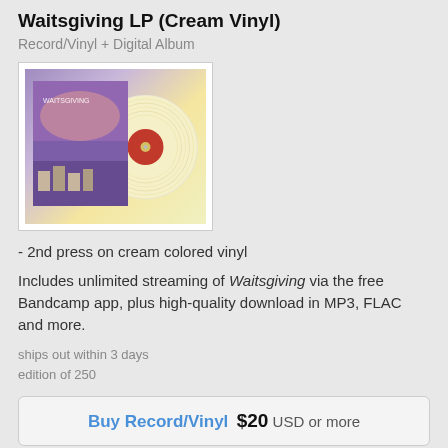Waitsgiving LP (Cream Vinyl)
Record/Vinyl + Digital Album
[Figure (photo): Cream colored vinyl record with purple/colorful album cover art for Waitsgiving LP]
- 2nd press on cream colored vinyl
Includes unlimited streaming of Waitsgiving via the free Bandcamp app, plus high-quality download in MP3, FLAC and more.
ships out within 3 days
edition of 250
Buy Record/Vinyl  $20  USD or more
Send as Gift
a patient painting of yourself waiting